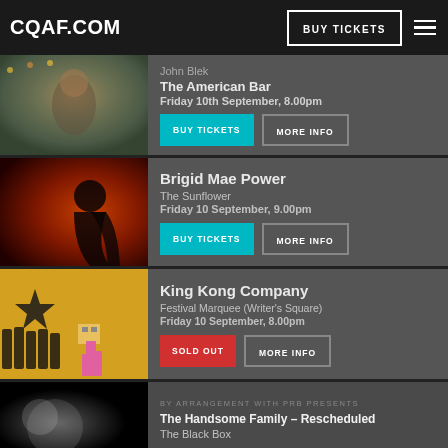CQAF.COM | BUY TICKETS
[Figure (photo): Photo of John Blek, man in beanie hat outdoors near fairground]
John Blek
The American Bar
Friday 10th September, 8.00pm
[Figure (photo): Photo of Brigid Mae Power, woman in silhouette against orange/red background]
Brigid Mae Power
The Sunflower
Friday 10 September, 9.00pm
[Figure (photo): Photo of King Kong Company band with person in box costume in front of yellow wall with star]
King Kong Company
Festival Marquee (Writer's Square)
Friday 10 September, 8.00pm
[Figure (photo): Dark moody photo for The Handsome Family]
BY ARRANGEMENT WITH PRB PRESENTS
The Handsome Family – Rescheduled
The Black Box